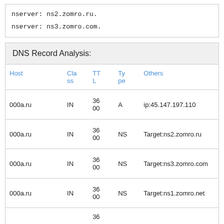nserver: ns2.zomro.ru.
nserver: ns3.zomro.com.
| Host | Class | TTL | Type | Others |
| --- | --- | --- | --- | --- |
| 000a.ru | IN | 3600 | A | ip:45.147.197.110 |
| 000a.ru | IN | 3600 | NS | Target:ns2.zomro.ru |
| 000a.ru | IN | 3600 | NS | Target:ns3.zomro.com |
| 000a.ru | IN | 3600 | NS | Target:ns1.zomro.net |
|  |  | 36 |  |  |